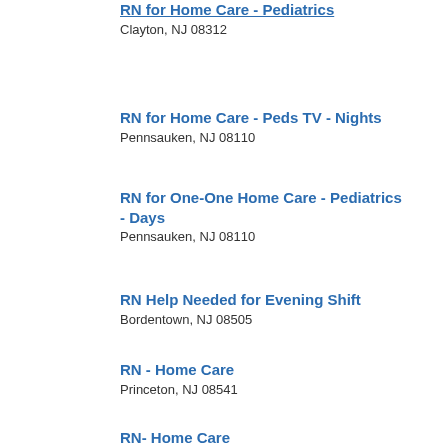RN for Home Care - Pediatrics
Clayton, NJ 08312
RN for Home Care - Peds TV - Nights
Pennsauken, NJ 08110
RN for One-One Home Care - Pediatrics - Days
Pennsauken, NJ 08110
RN Help Needed for Evening Shift
Bordentown, NJ 08505
RN - Home Care
Princeton, NJ 08541
RN- Home Care
Rochester, NH 03839
RN - Home Care (Private Duty Nursing)
Elizabeth, NJ 07201